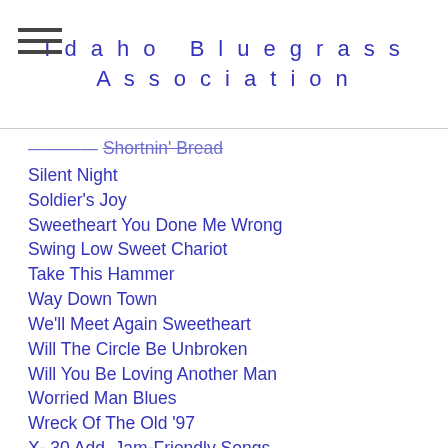Idaho Bluegrass Association
Silent Night
Soldier's Joy
Sweetheart You Done Me Wrong
Swing Low Sweet Chariot
Take This Hammer
Way Down Town
We'll Meet Again Sweetheart
Will The Circle Be Unbroken
Will You Be Loving Another Man
Worried Man Blues
Wreck Of The Old '97
X- 30 Add. Jam-Friendly Songs
X Basic Chord Progressions
X- Basic Chord Progressions
X-Bluegrass Artists And Bands
X- Music Theory
X- Pick-Up Notes